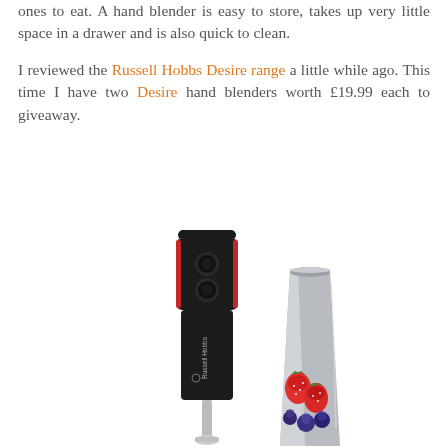ones to eat. A hand blender is easy to store, takes up very little space in a drawer and is also quick to clean.
I reviewed the Russell Hobbs Desire range a little while ago. This time I have two Desire hand blenders worth £19.99 each to giveaway.
[Figure (photo): Product photo of a Russell Hobbs Desire hand blender (black with red accents and two buttons) next to a stainless steel beaker cup containing strawberries and blueberries.]